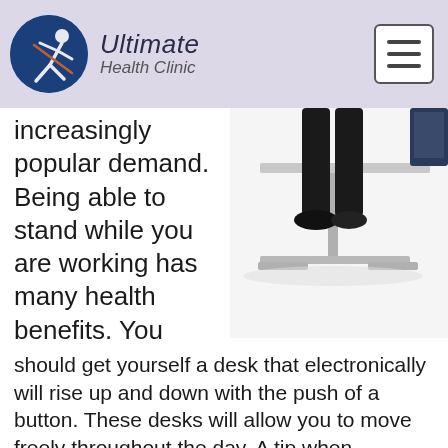Ultimate Health Clinic
increasingly popular demand. Being able to stand while you are working has many health benefits. You should get yourself a desk that electronically will rise up and down with the push of a button. These desks will allow you to move freely throughout the day. A tip when purchasing this type of desk is to ensure it has an arm for a monitor, otherwise you can
[Figure (photo): A person standing at a sit-stand desk with black trousers and shoes visible, next to a monitor, white background]